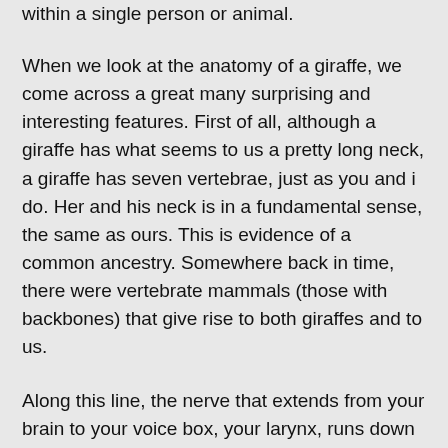within a single person or animal.
When we look at the anatomy of a giraffe, we come across a great many surprising and interesting features. First of all, although a giraffe has what seems to us a pretty long neck, a giraffe has seven vertebrae, just as you and i do. Her and his neck is in a fundamental sense, the same as ours. This is evidence of a common ancestry. Somewhere back in time, there were vertebrate mammals (those with backbones) that give rise to both giraffes and to us.
Along this line, the nerve that extends from your brain to your voice box, your larynx, runs down from your brain and past the larnyx. It goes right by your larnyx lime the pavement of a big city beltway. This same nerve runs around an artery near your heart.